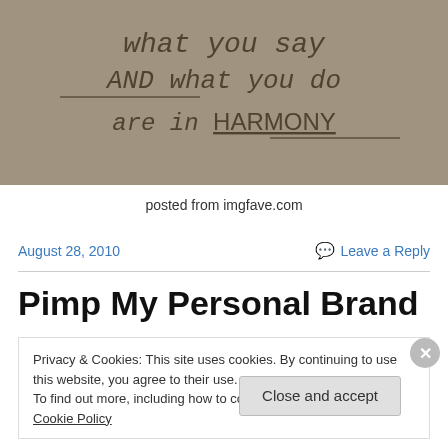[Figure (photo): Photograph of text written on pavement or sand: 'what you say AND what you do are in HARMONY']
posted from imgfave.com
August 28, 2010
Leave a Reply
Pimp My Personal Brand
Privacy & Cookies: This site uses cookies. By continuing to use this website, you agree to their use.
To find out more, including how to control cookies, see here: Cookie Policy
Close and accept